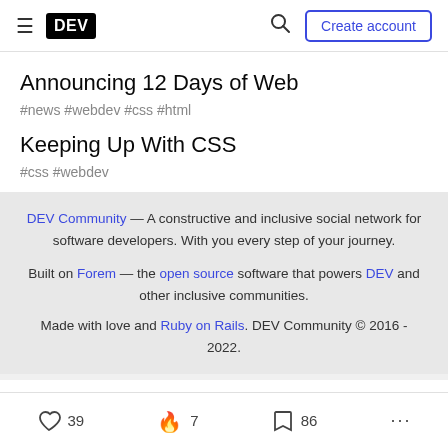≡ DEV | Search | Create account
Announcing 12 Days of Web
#news #webdev #css #html
Keeping Up With CSS
#css #webdev
DEV Community — A constructive and inclusive social network for software developers. With you every step of your journey. Built on Forem — the open source software that powers DEV and other inclusive communities. Made with love and Ruby on Rails. DEV Community © 2016 - 2022.
♡ 39  🔥 7  🔖 86  ...